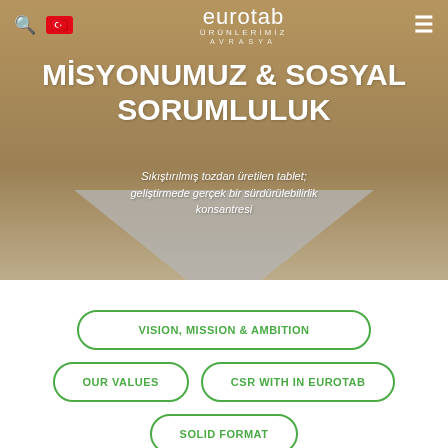[Figure (screenshot): Eurotab website screenshot showing navigation bar with search icon, Turkish flag, eurotab logo with 'ÜRÜNLERİMİZ AVRASYA' subtitle, hamburger menu icon on background of outdoor photo of family in field]
MİSYONUMUZ & SOSYAL SORUMLULUK
Sıkıştırılmış tozdan üretilen tablet; geliştirmede gerçek bir sürdürülebilirlik konsantresi
VISION, MISSION & AMBITION
OUR VALUES
CSR WITH IN EUROTAB
SOLID FORMAT